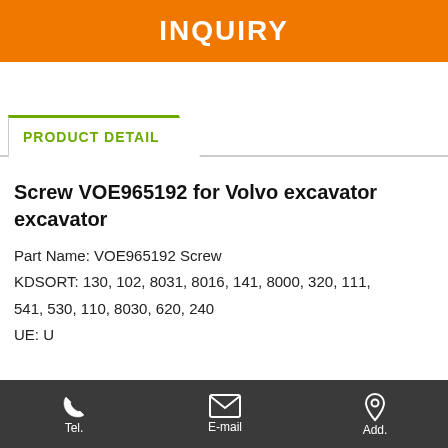INQUIRY
PRODUCT DETAIL
Screw VOE965192 for Volvo excavator excavator
Part Name: VOE965192 Screw
KDSORT: 130, 102, 8031, 8016, 141, 8000, 320, 111, 541, 530, 110, 8030, 620, 240
UE: U
Tel.   E-mail   Add.